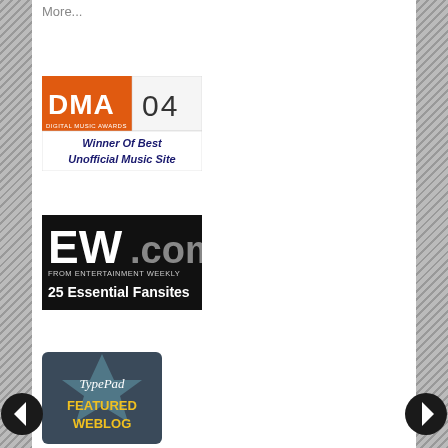More...
[Figure (logo): DMA 04 Digital Music Awards – Winner Of Best Unofficial Music Site badge with orange and black design]
[Figure (logo): EW.com From Entertainment Weekly – 25 Essential Fansites badge with black background and white/grey text]
[Figure (logo): TypePad Featured Weblog badge with dark grey/teal background, arrow graphic, and yellow text]